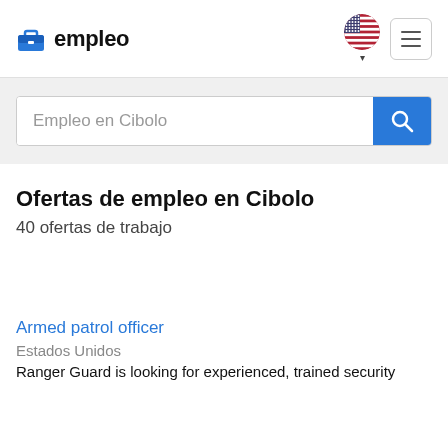empleo
Empleo en Cibolo
Ofertas de empleo en Cibolo
40 ofertas de trabajo
Armed patrol officer
Estados Unidos
Ranger Guard is looking for experienced, trained security